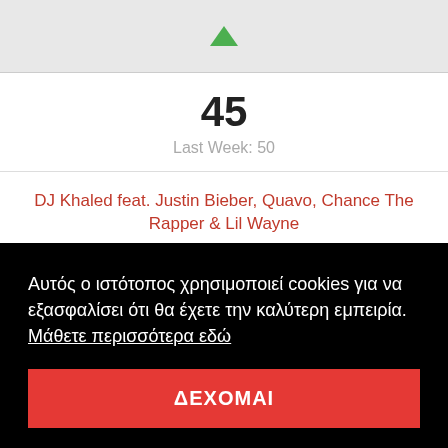[Figure (screenshot): Green upward arrow icon indicating chart rank movement]
45
Last Week: 50
DJ Khaled feat. Justin Bieber, Quavo, Chance The Rapper & Lil Wayne
I'm The One
Αυτός ο ιστότοπος χρησιμοποιεί cookies για να εξασφαλίσει ότι θα έχετε την καλύτερη εμπειρία. Μάθετε περισσότερα εδώ
ΔΕΧΟΜΑΙ